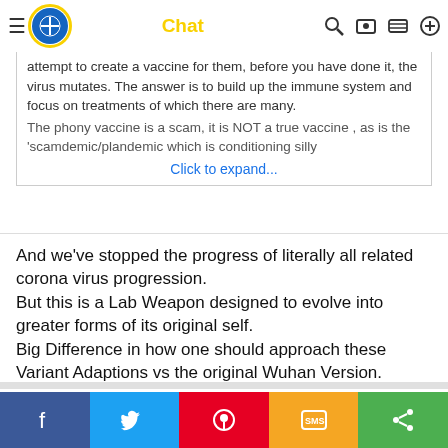[Figure (screenshot): Christian Chat website navigation bar with globe+cross logo, site title 'Christian Chat', and nav icons]
attempt to create a vaccine for them, before you have done it, the virus mutates. The answer is to build up the immune system and focus on treatments of which there are many.
The phony vaccine is a scam, it is NOT a true vaccine , as is the 'scamdemic/plandemic which is conditioning silly
Click to expand...
And we've stopped the progress of literally all related corona virus progression.
But this is a Lab Weapon designed to evolve into greater forms of its original self.
Big Difference in how one should approach these Variant Adaptions vs the original Wuhan Version.
shittim
Senior Member